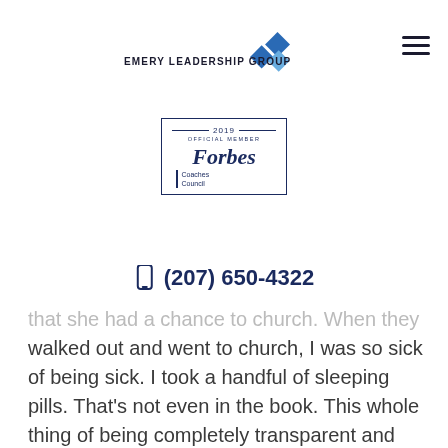[Figure (logo): Emery Leadership Group logo with blue diamond shapes and bold uppercase text]
[Figure (illustration): 2019 Official Member Forbes Coaches Council badge with border]
(207) 650-4322
that she had a chance to church. When they walked out and went to church, I was so sick of being sick. I took a handful of sleeping pills. That's not even in the book. This whole thing of being completely transparent and taking your mask off is important. The more I'm doing it, the more I realize I'm helping other people be set free. Fortunately, my sister was communicating with a friend of mine. My